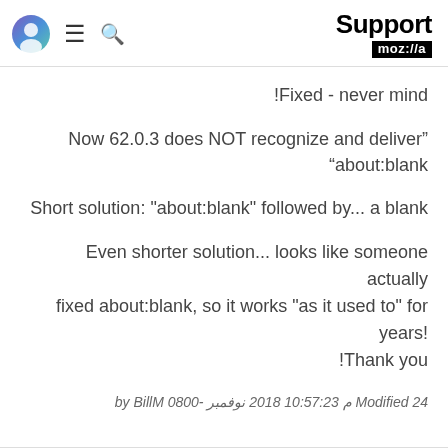Support mozilla
Fixed - never mind!
Now 62.0.3 does NOT recognize and deliver" "about:blank
Short solution: "about:blank" followed by... a blank
Even shorter solution... looks like someone actually fixed about:blank, so it works "as it used to" for years! Thank you!
Modified 24 نوفمبر 2018 10:57:23 م -0800 by BillM